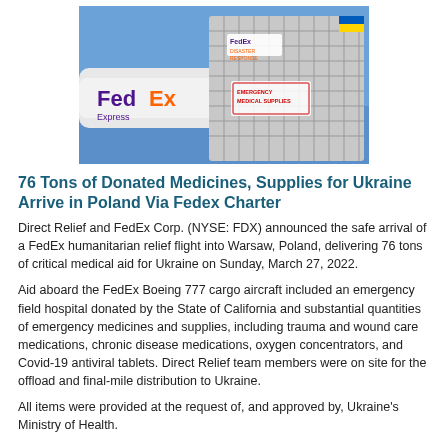[Figure (photo): FedEx cargo aircraft on tarmac with large silver shrink-wrapped pallet in foreground bearing Ukrainian flag and 'DISASTER RESPONSE' and 'EMERGENCY MEDICAL SUPPLIES' labels]
76 Tons of Donated Medicines, Supplies for Ukraine Arrive in Poland Via Fedex Charter
Direct Relief and FedEx Corp. (NYSE: FDX) announced the safe arrival of a FedEx humanitarian relief flight into Warsaw, Poland, delivering 76 tons of critical medical aid for Ukraine on Sunday, March 27, 2022.
Aid aboard the FedEx Boeing 777 cargo aircraft included an emergency field hospital donated by the State of California and substantial quantities of emergency medicines and supplies, including trauma and wound care medications, chronic disease medications, oxygen concentrators, and Covid-19 antiviral tablets. Direct Relief team members were on site for the offload and final-mile distribution to Ukraine.
All items were provided at the request of, and approved by, Ukraine's Ministry of Health.